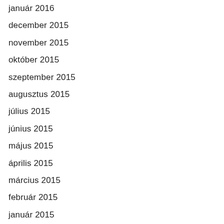január 2016
december 2015
november 2015
október 2015
szeptember 2015
augusztus 2015
július 2015
június 2015
május 2015
április 2015
március 2015
február 2015
január 2015
december 2014